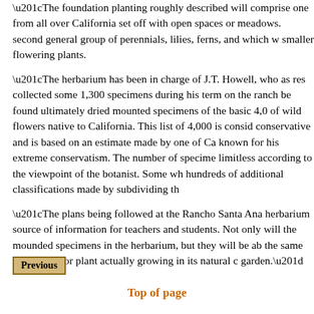“The foundation planting roughly described will comprise one from all over California set off with open spaces or meadows. second general group of perennials, lilies, ferns, and which w smaller flowering plants.
“The herbarium has been in charge of J.T. Howell, who as res collected some 1,300 specimens during his term on the ranch be found ultimately dried mounted specimens of the basic 4,0 of wild flowers native to California. This list of 4,000 is consid conservative and is based on an estimate made by one of Ca known for his extreme conservatism. The number of specime limitless according to the viewpoint of the botanist. Some wh hundreds of additional classifications made by subdividing th
“The plans being followed at the Rancho Santa Ana herbarium source of information for teachers and students. Not only will the mounded specimens in the herbarium, but they will be ab the same tree, shrub, or plant actually growing in its natural c garden.”
[Figure (other): Previous navigation button]
Top of page